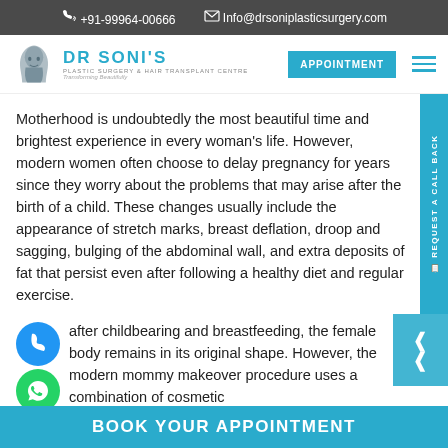+91-99964-00666   Info@drsoniplasticsurgery.com
[Figure (logo): Dr Soni's Plastic Surgery & Hair Transplant Centre logo with face silhouette]
Motherhood is undoubtedly the most beautiful time and brightest experience in every woman's life. However, modern women often choose to delay pregnancy for years since they worry about the problems that may arise after the birth of a child. These changes usually include the appearance of stretch marks, breast deflation, droop and sagging, bulging of the abdominal wall, and extra deposits of fat that persist even after following a healthy diet and regular exercise.
after childbearing and breastfeeding, the female body remains in its original shape. However, the modern mommy makeover procedure uses a combination of cosmetic
BOOK YOUR APPOINTMENT